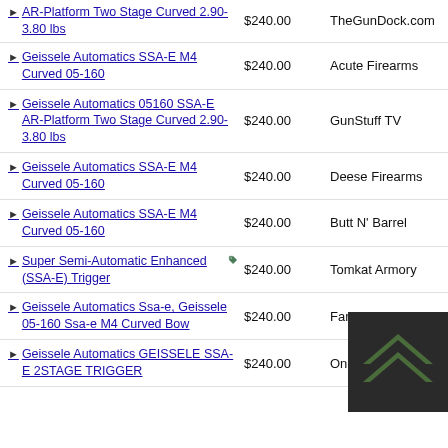AR-Platform Two Stage Curved 2.90-3.80 lbs | $240.00 | TheGunDock.com
Geissele Automatics SSA-E M4 Curved 05-160 | $240.00 | Acute Firearms
Geissele Automatics 05160 SSA-E AR-Platform Two Stage Curved 2.90-3.80 lbs | $240.00 | GunStuff TV
Geissele Automatics SSA-E M4 Curved 05-160 | $240.00 | Deese Firearms
Geissele Automatics SSA-E M4 Curved 05-160 | $240.00 | Butt N' Barrel
Super Semi-Automatic Enhanced (SSA-E) Trigger | $240.00 | Tomkat Armory
Geissele Automatics Ssa-e, Geissele 05-160 Ssa-e M4 Curved Bow | $240.00 | Farnsworth Firearms
Geissele Automatics GEISSELE SSA-E 2STAGE TRIGGER | $240.00 | Online Outfitters
[Figure (logo): Military-style rank chevron badge with two upward-pointing chevrons on dark background, associated with Online Outfitters]